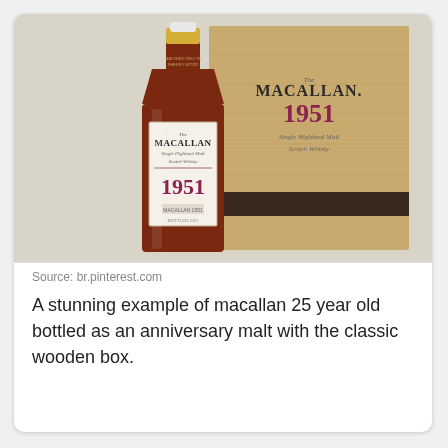[Figure (photo): A Macallan 1951 single highland malt Scotch whisky bottle (dark amber glass, cream label with red 1951 numerals) next to its light wooden presentation box with MACALLAN 1951 branding and a dark band stripe.]
Source: br.pinterest.com
A stunning example of macallan 25 year old bottled as an anniversary malt with the classic wooden box.